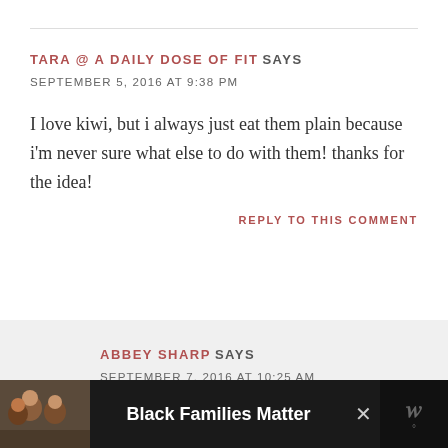TARA @ A DAILY DOSE OF FIT SAYS
SEPTEMBER 5, 2016 AT 9:38 PM
I love kiwi, but i always just eat them plain because i'm never sure what else to do with them! thanks for the idea!
REPLY TO THIS COMMENT
ABBEY SHARP SAYS
SEPTEMBER 7, 2016 AT 10:25 AM
[Figure (infographic): Advertisement banner at bottom: black background with photo of smiling people on left, text 'Black Families Matter' in white bold text, X close button, and logo on right]